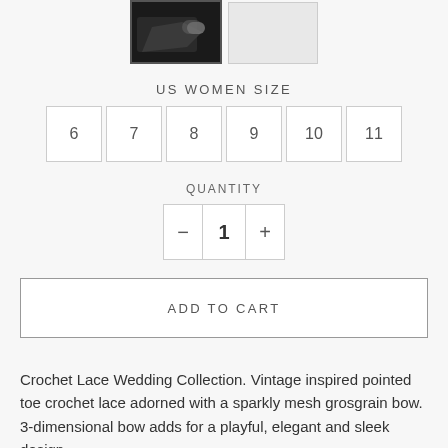[Figure (photo): Two product thumbnail images at top: one showing a black shoe with sparkly bow detail, one empty/white thumbnail]
US WOMEN SIZE
6  7  8  9  10  11
QUANTITY
- 1 +
ADD TO CART
Crochet Lace Wedding Collection. Vintage inspired pointed toe crochet lace adorned with a sparkly mesh grosgrain bow. 3-dimensional bow adds for a playful, elegant and sleek design